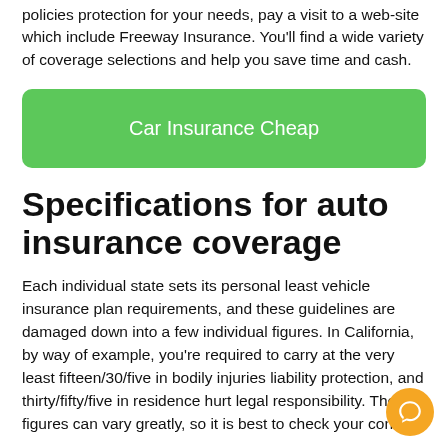policies protection for your needs, pay a visit to a web-site which include Freeway Insurance. You'll find a wide variety of coverage selections and help you save time and cash.
[Figure (other): Green button with white text reading 'Car Insurance Cheap']
Specifications for auto insurance coverage
Each individual state sets its personal least vehicle insurance plan requirements, and these guidelines are damaged down into a few individual figures. In California, by way of example, you're required to carry at the very least fifteen/30/five in bodily injuries liability protection, and thirty/fifty/five in residence hurt legal responsibility. These figures can vary greatly, so it is best to check your conditions closely, to take care of state When the time